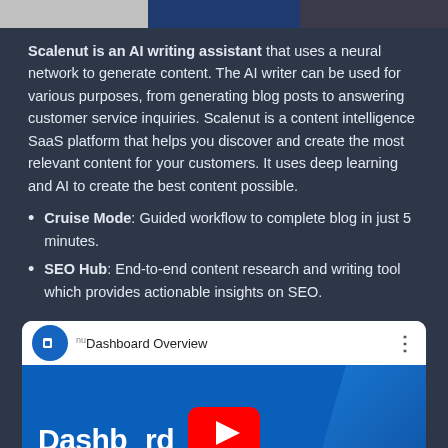[Figure (photo): Top image strip with three sections: gray/white on left, dark blue in center, dark gray on right]
Scalenut is an AI writing assistant that uses a neural network to generate content. The AI writer can be used for various purposes, from generating blog posts to answering customer service inquiries. Scalenut is a content intelligence SaaS platform that helps you discover and create the most relevant content for your customers. It uses deep learning and AI to create the best content possible.
Cruise Mode: Guided workflow to complete blog in just 5 minutes.
SEO Hub: End-to-end content research and writing tool which provides actionable insights on SEO.
[Figure (screenshot): YouTube video embed showing 'Dashboard Overview' with play button overlay and blue thumbnail background with white bold text 'Dashboard Overview']